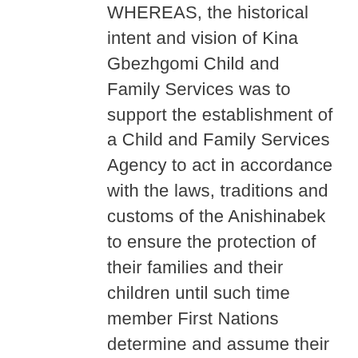WHEREAS, the historical intent and vision of Kina Gbezhgomi Child and Family Services was to support the establishment of a Child and Family Services Agency to act in accordance with the laws, traditions and customs of the Anishinabek to ensure the protection of their families and their children until such time member First Nations determine and assume their inherent right to provide and deliver child welfare service [responsibility] on behalf of their First Nation members.
NOW THEREFORE BE IT RESOLVED, by Kina Gbezhgomi Child and Family Services proclaim that we are an Anishinabek Agency servicing Anishinabek people to ensure services are delivered by honouring